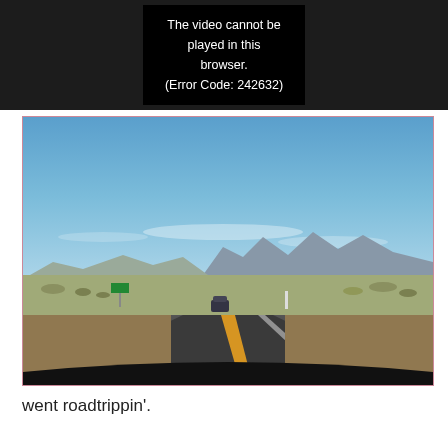[Figure (screenshot): Video player showing error message: 'The video cannot be played in this browser. (Error Code: 242632)' on dark background]
[Figure (photo): Road trip photo showing a two-lane highway stretching into the distance with mountains on the horizon under a bright blue sky. Desert scrubland on either side. A dark vehicle visible ahead on the road.]
went roadtrippin'.